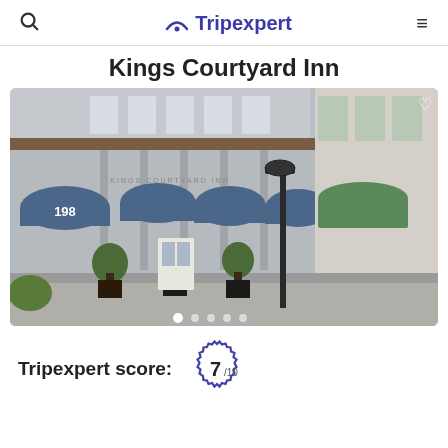Tripexpert
Kings Courtyard Inn
[Figure (photo): Exterior facade of Kings Courtyard Inn at 198, showing blue dome awnings over the entrance and storefronts, with topiary trees in dark planters on the sidewalk and a black lamppost]
Tripexpert score: 7/10